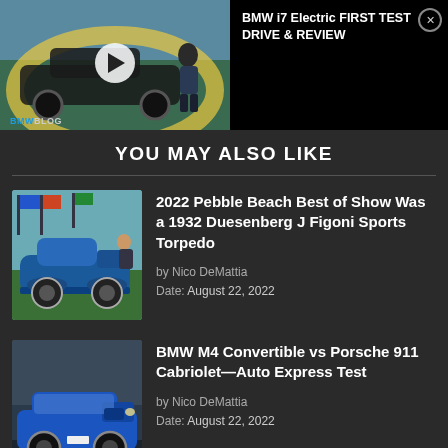[Figure (screenshot): BMW i7 Electric video thumbnail with play button and BMWBLOG watermark, showing BMW i7 car and a presenter. Right side shows black panel with title text and close button.]
BMW i7 Electric FIRST TEST DRIVE & REVIEW
YOU MAY ALSO LIKE
[Figure (photo): Vintage 1932 Duesenberg J Figoni Sports Torpedo classic car in blue, shown at Pebble Beach concours event on grass with flags in background.]
2022 Pebble Beach Best of Show Was a 1932 Duesenberg J Figoni Sports Torpedo
by Nico DeMattia
Date: August 22, 2022
[Figure (photo): BMW M4 Convertible in blue color parked, front three-quarter view.]
BMW M4 Convertible vs Porsche 911 Cabriolet—Auto Express Test
by Nico DeMattia
Date: August 22, 2022